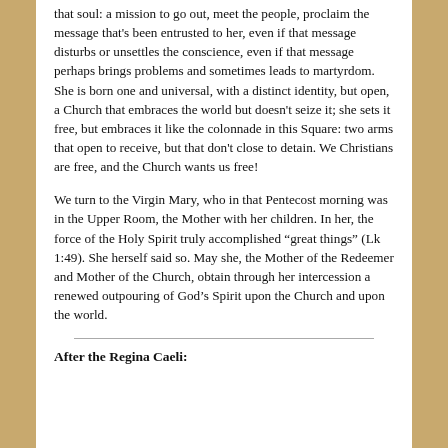that soul: a mission to go out, meet the people, proclaim the message that's been entrusted to her, even if that message disturbs or unsettles the conscience, even if that message perhaps brings problems and sometimes leads to martyrdom. She is born one and universal, with a distinct identity, but open, a Church that embraces the world but doesn't seize it; she sets it free, but embraces it like the colonnade in this Square: two arms that open to receive, but that don't close to detain. We Christians are free, and the Church wants us free!
We turn to the Virgin Mary, who in that Pentecost morning was in the Upper Room, the Mother with her children. In her, the force of the Holy Spirit truly accomplished “great things” (Lk 1:49). She herself said so. May she, the Mother of the Redeemer and Mother of the Church, obtain through her intercession a renewed outpouring of God’s Spirit upon the Church and upon the world.
After the Regina Caeli: